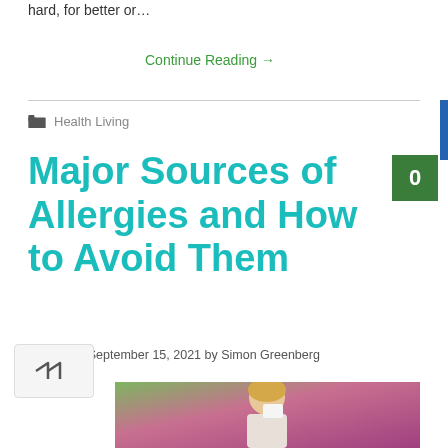hard, for better or…
Continue Reading →
Health Living
Major Sources of Allergies and How to Avoid Them
0
Posted on September 15, 2021 by Simon Greenberg
[Figure (photo): Woman with blonde hair sneezing into a tissue outdoors with pink flowers in background]